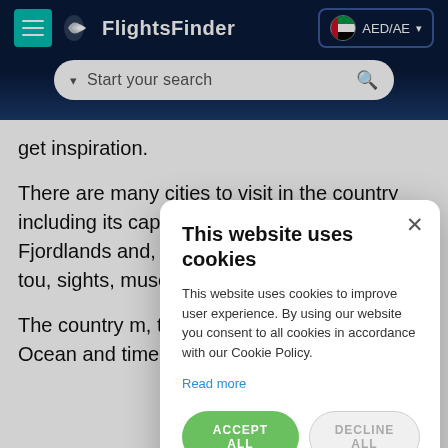FlightsFinder — AED/AE — Start your search
get inspiration.
There are many cities to visit in the country including its capital Oslo, historic trading, Fjordlands and, center for all N, cities offer tou, sights, museum
The country m, the Viking Age, the Atlantic Ocean and time after time they raided
[Figure (screenshot): Cookie consent modal dialog with title 'This website uses cookies', body text, Read more link, ACCEPT ALL and DECLINE ALL buttons, and SHOW DETAILS option.]